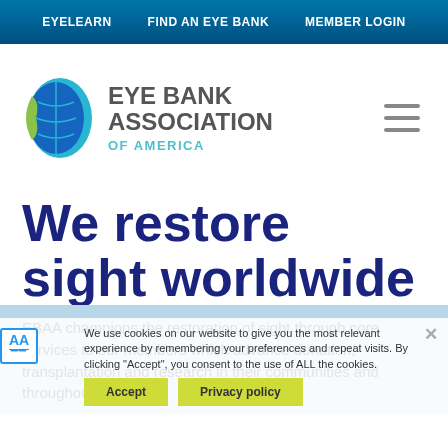EYELEARN   FIND AN EYE BANK   MEMBER LOGIN
[Figure (logo): Eye Bank Association of America logo with circular blue globe icon and green crescent]
We restore sight worldwide
EBAA champions the restoration of sight through core services to our members which advance donation, transplantation and research in their communities and throughout the world.
We use cookies on our website to give you the most relevant experience by remembering your preferences and repeat visits. By clicking "Accept", you consent to the use of ALL the cookies.
Accept   Privacy policy